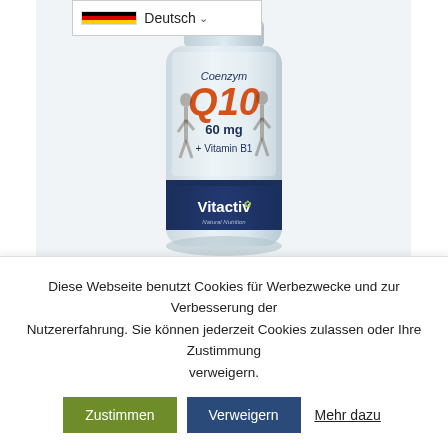[Figure (photo): Product photo of a Vitactiv Coenzym Q10 60mg + Vitamin B1 supplement bottle, white/light blue container with dark blue band showing Vitactiv logo, with sports people in background on the label]
Coenzym Q10 mit Vitamin B1 90 Kapseln
CHF 29.70
Diese Webseite benutzt Cookies für Werbezwecke und zur Verbesserung der Nutzererfahrung. Sie können jederzeit Cookies zulassen oder Ihre Zustimmung verweigern.
Zustimmen
Verweigern
Mehr dazu